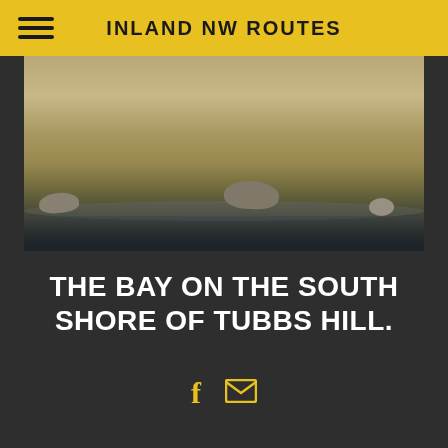INLAND NW ROUTES
[Figure (photo): Photo of a rocky pebbly shore on the south side of Tubbs Hill, with water visible in the background]
THE BAY ON THE SOUTH SHORE OF TUBBS HILL.
[Figure (infographic): Social media icons: Facebook (f) and email envelope, in gold/yellow color]